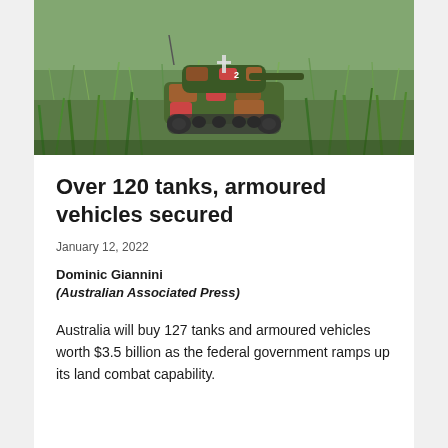[Figure (photo): A toy/model military tank with camouflage paint (green, brown, red pattern) sitting in grass outdoors, with grass blades in foreground and background.]
Over 120 tanks, armoured vehicles secured
January 12, 2022
Dominic Giannini
(Australian Associated Press)
Australia will buy 127 tanks and armoured vehicles worth $3.5 billion as the federal government ramps up its land combat capability.